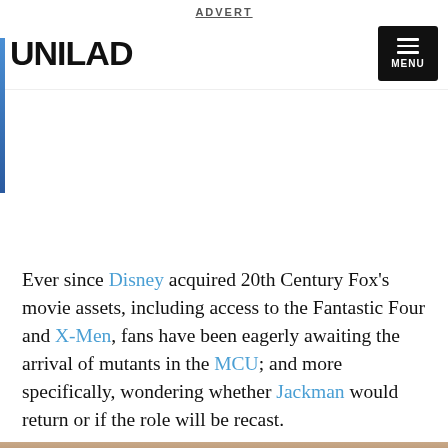ADVERT
UNILAD
Ever since Disney acquired 20th Century Fox's movie assets, including access to the Fantastic Four and X-Men, fans have been eagerly awaiting the arrival of mutants in the MCU; and more specifically, wondering whether Jackman would return or if the role will be recast.
[Figure (photo): Partial photo of a person visible at the bottom of the page]